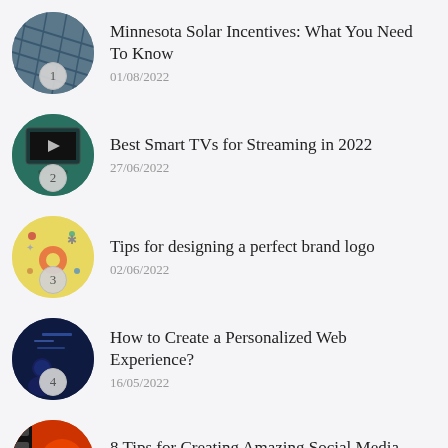Minnesota Solar Incentives: What You Need To Know — 01/08/2022
Best Smart TVs for Streaming in 2022 — 27/06/2022
Tips for designing a perfect brand logo — 02/06/2022
How to Create a Personalized Web Experience? — 16/05/2022
8 Tips for Creating Amazing Social Media Videos